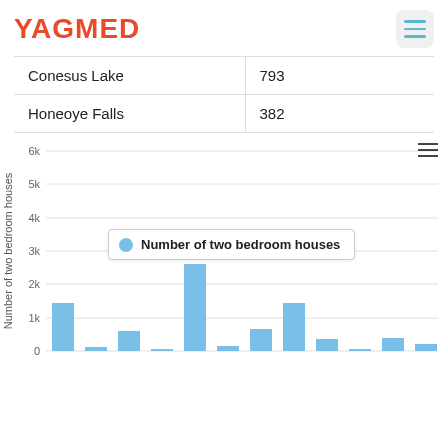YAGMED
| Conesus Lake | 793 |
| Honeoye Falls | 382 |
[Figure (bar-chart): Number of two bedroom houses]